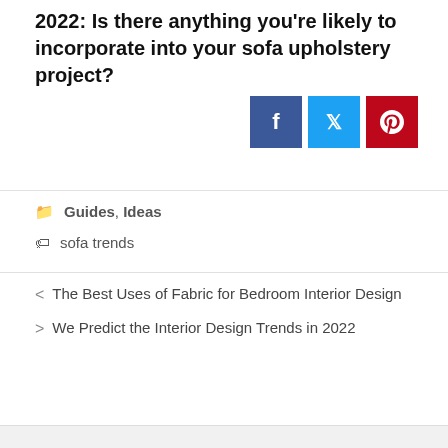2022: Is there anything you're likely to incorporate into your sofa upholstery project?
[Figure (other): Social sharing buttons: Facebook (dark blue), Twitter (light blue), Pinterest (red)]
Categories: Guides, Ideas
Tags: sofa trends
< The Best Uses of Fabric for Bedroom Interior Design
> We Predict the Interior Design Trends in 2022